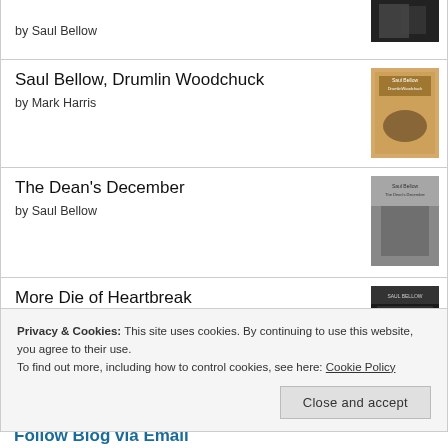by Saul Bellow
Saul Bellow, Drumlin Woodchuck
by Mark Harris
The Dean's December
by Saul Bellow
More Die of Heartbreak
by Saul Bellow
Privacy & Cookies: This site uses cookies. By continuing to use this website, you agree to their use.
To find out more, including how to control cookies, see here: Cookie Policy
Follow Blog via Email